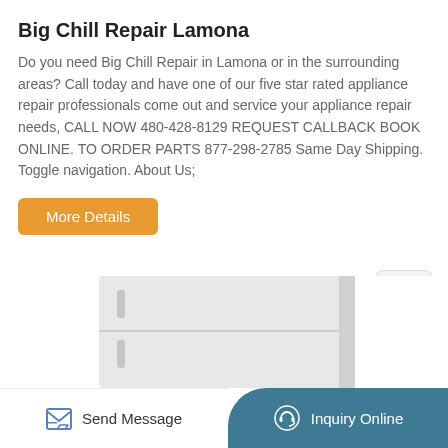Big Chill Repair Lamona
Do you need Big Chill Repair in Lamona or in the surrounding areas? Call today and have one of our five star rated appliance repair professionals come out and service your appliance repair needs, CALL NOW 480-428-8129 REQUEST CALLBACK BOOK ONLINE. TO ORDER PARTS 877-298-2785 Same Day Shipping. Toggle navigation. About Us;
[Figure (other): Orange 'More Details' button]
[Figure (other): TOP scroll-to-top button widget in top right corner]
[Figure (photo): White refrigerator appliance partially visible at bottom of page]
[Figure (other): Bottom navigation bar with 'Send Message' on left and 'Inquiry Online' on right with teal background and rounded top-left corner]